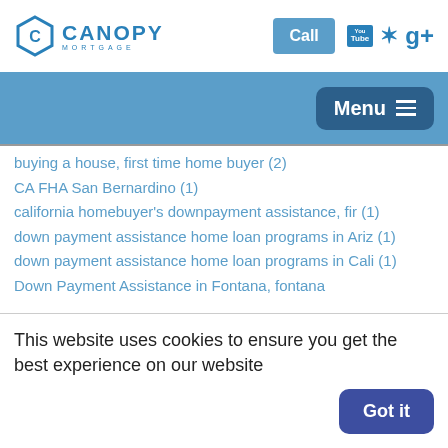[Figure (logo): Canopy Mortgage logo with hexagon icon, Call button, YouTube, Yelp, and Google+ social icons]
[Figure (screenshot): Blue navigation bar with Menu button and hamburger icon]
buying a house, first time home buyer (2)
CA FHA San Bernardino (1)
california homebuyer's downpayment assistance, fir (1)
down payment assistance home loan programs in Ariz (1)
down payment assistance home loan programs in Cali (1)
Down Payment Assistance in Fontana, fontana
This website uses cookies to ensure you get the best experience on our website